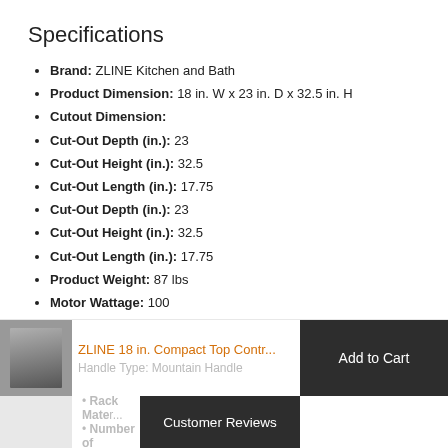Specifications
Brand: ZLINE Kitchen and Bath
Product Dimension: 18 in. W x 23 in. D x 32.5 in. H
Cutout Dimension:
Cut-Out Depth (in.): 23
Cut-Out Height (in.): 32.5
Cut-Out Length (in.): 17.75
Cut-Out Depth (in.): 23
Cut-Out Height (in.): 32.5
Cut-Out Length (in.): 17.75
Product Weight: 87 lbs
Motor Wattage: 100
Control Location: Top Control
ZLINE 18 in. Compact Top Contr...
Handle Type: Mountain Handle
Rack Material:
Number of
Add to Cart
Customer Reviews